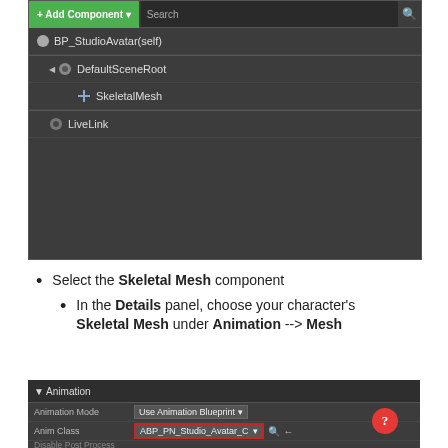[Figure (screenshot): Unreal Engine component hierarchy panel showing BP_StudioAvatar(self) with DefaultSceneRoot containing SkeletalMesh and a LiveLink component, with Add Component button and Search bar at top.]
Select the Skeletal Mesh component
In the Details panel, choose your character's Skeletal Mesh under Animation --> Mesh
[Figure (screenshot): Unreal Engine Details panel showing Animation section with Animation Mode set to 'Use Animation Blueprint' and Anim Class set to 'ABP_PN_Studio_Avatar_C', with a red help button.]